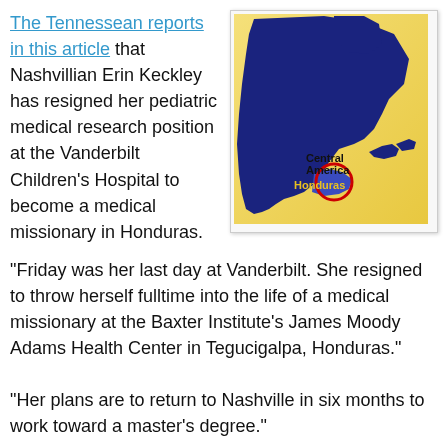The Tennessean reports in this article that Nashvillian Erin Keckley has resigned her pediatric medical research position at the Vanderbilt Children's Hospital to become a medical missionary in Honduras.
[Figure (map): Map of North and Central America highlighting Honduras with a red circle, labeled 'Central America' and 'Honduras' in yellow text.]
"Friday was her last day at Vanderbilt. She resigned to throw herself fulltime into the life of a medical missionary at the Baxter Institute's James Moody Adams Health Center in Tegucigalpa, Honduras."
"Her plans are to return to Nashville in six months to work toward a master's degree."
'After that, my goal is to go down there and run that clinic full time,' she says."
'"From the first time I went down there, I truly felt I was